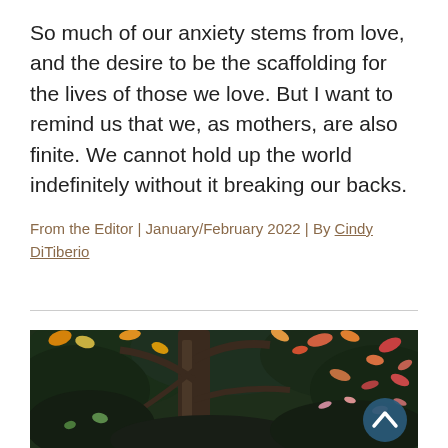So much of our anxiety stems from love, and the desire to be the scaffolding for the lives of those we love. But I want to remind us that we, as mothers, are also finite. We cannot hold up the world indefinitely without it breaking our backs.
From the Editor | January/February 2022 | By Cindy DiTiberio
[Figure (photo): Outdoor autumn scene with a tree trunk in the center, surrounded by colorful fall leaves (red, orange, yellow, green) against dark foliage. A circular teal/dark blue scroll-to-top button with a white chevron arrow is overlaid in the bottom right of the image.]